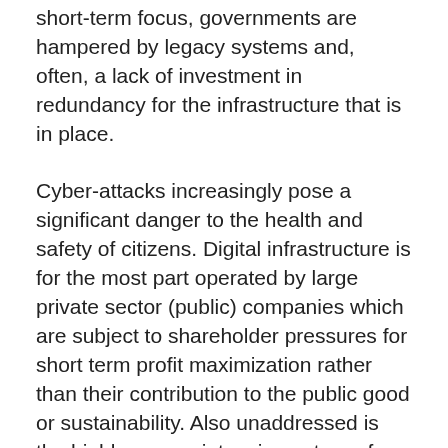short-term focus, governments are hampered by legacy systems and, often, a lack of investment in redundancy for the infrastructure that is in place.
Cyber-attacks increasingly pose a significant danger to the health and safety of citizens. Digital infrastructure is for the most part operated by large private sector (public) companies which are subject to shareholder pressures for short term profit maximization rather than their contribution to the public good or sustainability. Also unaddressed is the highly energy intensive nature of our digital technologies at a time when we are increasingly reminded of the need to reduce our environmental footprint – and quickly.
One small example of the unanticipated consequences of the delivery of essential